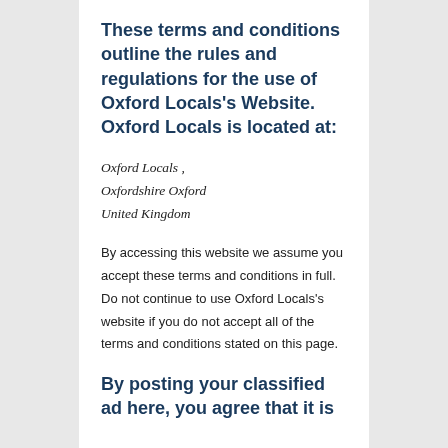These terms and conditions outline the rules and regulations for the use of Oxford Locals's Website. Oxford Locals is located at:
Oxford Locals ,
Oxfordshire Oxford
United Kingdom
By accessing this website we assume you accept these terms and conditions in full. Do not continue to use Oxford Locals's website if you do not accept all of the terms and conditions stated on this page.
By posting your classified ad here, you agree that it is